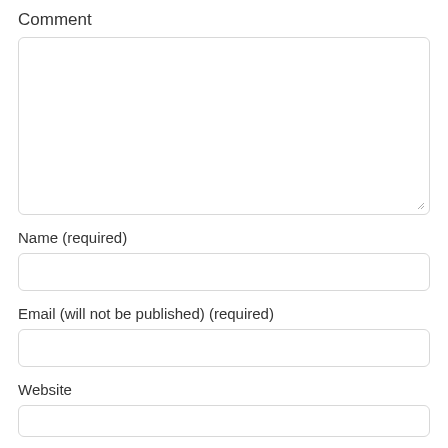Comment
[Figure (other): Large comment text area input box with resize handle at bottom right]
Name (required)
[Figure (other): Single-line text input box for Name]
Email (will not be published) (required)
[Figure (other): Single-line text input box for Email]
Website
[Figure (other): Single-line text input box for Website (partially visible)]